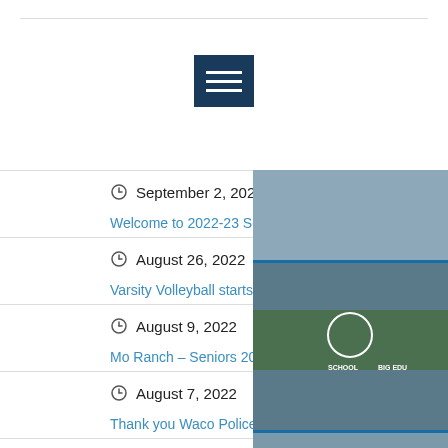[Figure (screenshot): Hamburger menu navigation button with three white lines on dark navy background]
September 2, 2022
Welcome to 2022-23 School Year! Go Vikings!
August 26, 2022
Varsity Volleyball starts with a win!
August 9, 2022
Mo Ranch – Seniors 2023 Leadership Retreat
August 7, 2022
Thank you Waco Police Department
July 29, 2022
[Figure (photo): Photo collage strip on the right side showing school events including volleyball team, group photo with 'SCHOOL BIG EDU' text, volleyball team in gym, outdoor group photo, and meeting room photos]